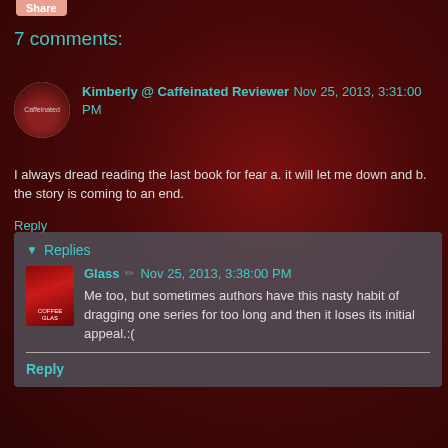Share
7 comments:
Kimberly @ Caffeinated Reviewer Nov 25, 2013, 3:31:00 PM
I always dread reading the last book for fear a. it will let me down and b. the story is coming to an end.
Reply
Replies
Glass ✏ Nov 25, 2013, 3:38:00 PM
Me too, but sometimes authors have this nasty habit of dragging one series for too long and then it loses its initial appeal.:(
Reply